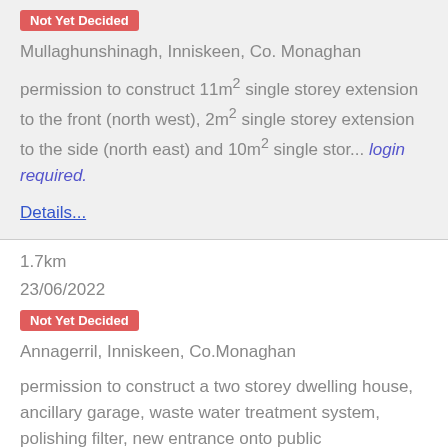Not Yet Decided
Mullaghunshinagh, Inniskeen, Co. Monaghan
permission to construct 11m² single storey extension to the front (north west), 2m² single storey extension to the side (north east) and 10m² single stor... login required.
Details...
1.7km
23/06/2022
Not Yet Decided
Annagerril, Inniskeen, Co.Monaghan
permission to construct a two storey dwelling house, ancillary garage, waste water treatment system, polishing filter, new entrance onto public